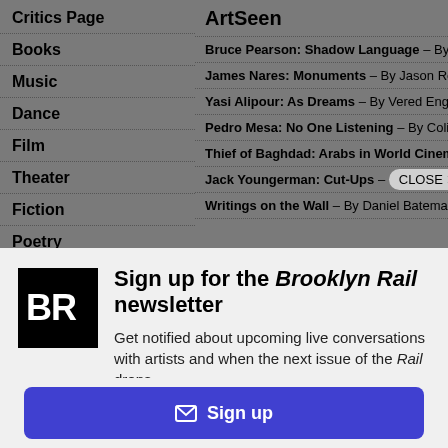Critics Page
Books
Music
Dance
Film
Theater
Fiction
Poetry
ArtSeen
Bruce Pearson: Shadow Language – By Lill
James Nares: Monuments – By Jason Rose
Yasi Alipour: As Dreams – By Vered Engelh
Pedro Mesa: No One Listening – By Colin B
Thief of Baghdad: Arabs in World Cinema –
Jack Youngerman: Cut-Ups – CLOSE x han
Writings on the Wall – By Daniel Bateman
[Figure (logo): BR logo - black square with white BR letters]
Sign up for the Brooklyn Rail newsletter
Get notified about upcoming live conversations with artists and when the next issue of the Rail drops.
✉ Sign up